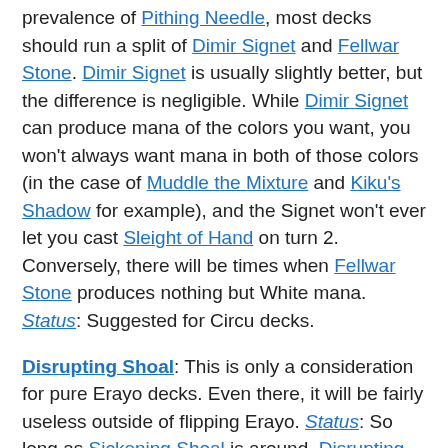prevalence of Pithing Needle, most decks should run a split of Dimir Signet and Fellwar Stone. Dimir Signet is usually slightly better, but the difference is negligible. While Dimir Signet can produce mana of the colors you want, you won't always want mana in both of those colors (in the case of Muddle the Mixture and Kiku's Shadow for example), and the Signet won't ever let you cast Sleight of Hand on turn 2. Conversely, there will be times when Fellwar Stone produces nothing but White mana. Status: Suggested for Circu decks.
Disrupting Shoal: This is only a consideration for pure Erayo decks. Even there, it will be fairly useless outside of flipping Erayo. Status: So long as Sickening Shoal is around, Disrupting Shoal is unwanted.
Eradicate: If Eradicate didn't suffer from the Dark Banishing problem, I'd play it in an instant (or sorcery). Its synergy with Circu is clear. Status: For now, sideboard and